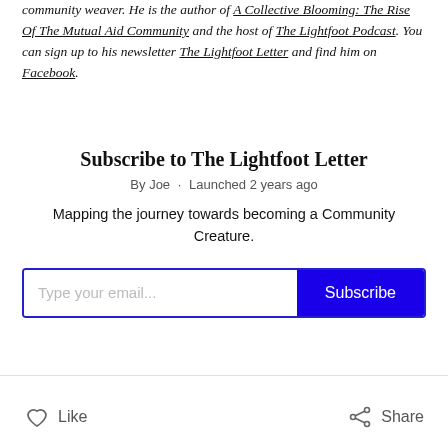community weaver. He is the author of A Collective Blooming: The Rise Of The Mutual Aid Community and the host of The Lightfoot Podcast. You can sign up to his newsletter The Lightfoot Letter and find him on Facebook.
Subscribe to The Lightfoot Letter
By Joe · Launched 2 years ago
Mapping the journey towards becoming a Community Creature.
[Figure (other): Email subscription form with text input field placeholder 'Type your email...' and a blue Subscribe button]
Like  Share